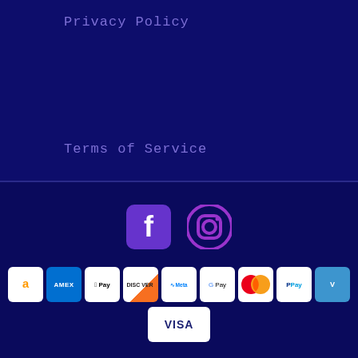Privacy Policy
Terms of Service
[Figure (other): Social media icons: Facebook and Instagram]
[Figure (other): Payment method logos: Amazon, Amex, Apple Pay, Discover, Meta Pay, Google Pay, Mastercard, PayPal, Venmo, Visa]
© 2022, Sneaker Freak Apparel